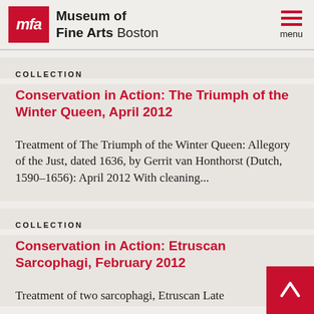mfa | Museum of Fine Arts Boston | menu
COLLECTION
Conservation in Action: The Triumph of the Winter Queen, April 2012
Treatment of The Triumph of the Winter Queen: Allegory of the Just, dated 1636, by Gerrit van Honthorst (Dutch, 1590–1656): April 2012 With cleaning...
COLLECTION
Conservation in Action: Etruscan Sarcophagi, February 2012
Treatment of two sarcophagi, Etruscan Late